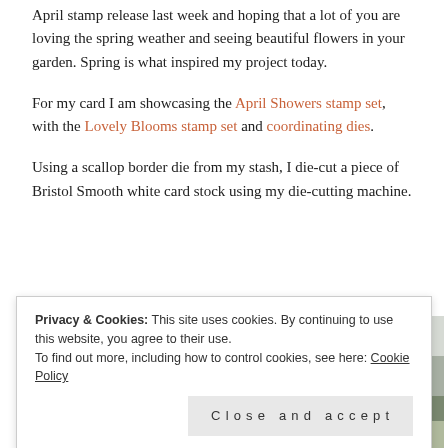April stamp release last week and hoping that a lot of you are loving the spring weather and seeing beautiful flowers in your garden.  Spring is what inspired my project today.
For my card I am showcasing the April Showers stamp set, with the Lovely Blooms stamp set and coordinating dies.
Using a scallop border die from my stash, I die-cut a piece of Bristol Smooth white card stock using my die-cutting machine.
[Figure (photo): Partial view of a craft/stamping project photo, partially obscured by cookie consent banner]
Privacy & Cookies: This site uses cookies. By continuing to use this website, you agree to their use. To find out more, including how to control cookies, see here: Cookie Policy
Close and accept